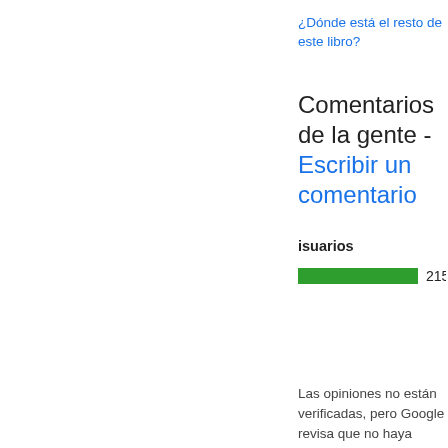¿Dónde está el resto de este libro?
Comentarios de la gente - Escribir un comentario
isuarios
[Figure (bar-chart): ]
Las opiniones no están verificadas, pero Google revisa que no haya contenido falso y lo quita si lo identifica